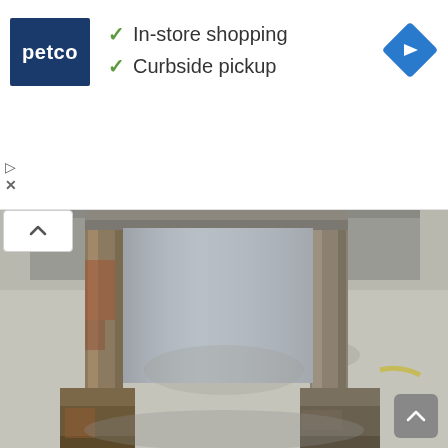[Figure (logo): Petco brand logo — dark navy blue rectangle with 'petco' in white bold text]
✓ In-store shopping
✓ Curbside pickup
[Figure (other): Blue diamond-shaped navigation arrow icon pointing right]
[Figure (photo): A metal fabricated stand or frame structure resembling an H-frame or press stand, made of steel channels and square tubing with rust patina, sitting on a concrete floor outdoors. The structure has two vertical upright columns connected at the top and four horizontal feet extending outward.]